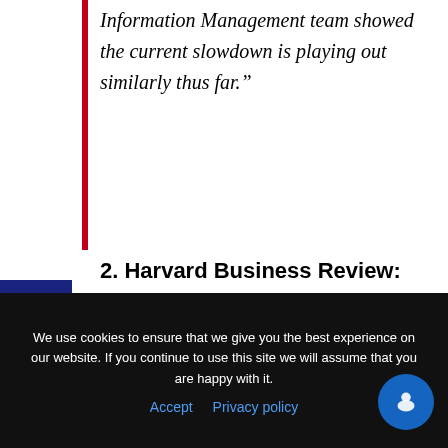Information Management team showed the current slowdown is playing out similarly thus far.”
2. Harvard Business Review:
“It’s worth looking back at history to place the potential impact path of Covid-19 empirically. In fact, V-shapes monopolize the empirical landscape of prior shocks, including
We use cookies to ensure that we give you the best experience on our website. If you continue to use this site we will assume that you are happy with it.
Accept   Privacy policy